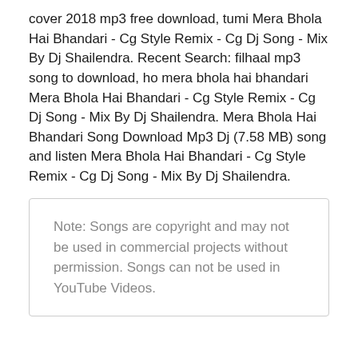cover 2018 mp3 free download, tumi Mera Bhola Hai Bhandari - Cg Style Remix - Cg Dj Song - Mix By Dj Shailendra. Recent Search: filhaal mp3 song to download, ho mera bhola hai bhandari Mera Bhola Hai Bhandari - Cg Style Remix - Cg Dj Song - Mix By Dj Shailendra. Mera Bhola Hai Bhandari Song Download Mp3 Dj (7.58 MB) song and listen Mera Bhola Hai Bhandari - Cg Style Remix - Cg Dj Song - Mix By Dj Shailendra.
Note: Songs are copyright and may not be used in commercial projects without permission. Songs can not be used in YouTube Videos.